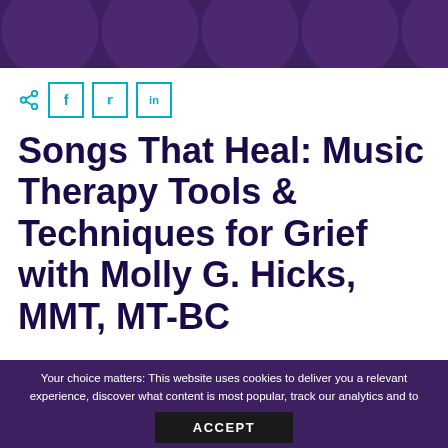[Figure (other): Purple decorative header bar with circular pattern overlays]
[Figure (other): Share icon and social media buttons for Facebook (f), Twitter (bird), and LinkedIn (in)]
Songs That Heal: Music Therapy Tools & Techniques for Grief with Molly G. Hicks, MMT, MT-BC
Your choice matters: This website uses cookies to deliver you a relevant experience, discover what content is most popular, track our analytics and to personalize ads. You may either accept or opt-out of this setting. Cookie settings
ACCEPT